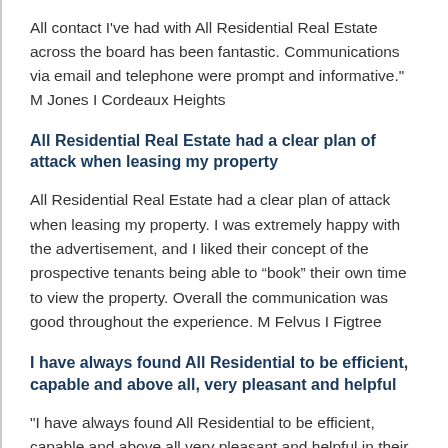All contact I've had with All Residential Real Estate across the board has been fantastic. Communications via email and telephone were prompt and informative."   M Jones I Cordeaux Heights
All Residential Real Estate had a clear plan of attack when leasing my property
All Residential Real Estate had a clear plan of attack when leasing my property. I was extremely happy with the advertisement, and I liked their concept of the prospective tenants being able to “book” their own time to view the property. Overall the communication was good throughout the experience. M Felvus I Figtree
I have always found All Residential to be efficient, capable and above all, very pleasant and helpful
"I have always found All Residential to be efficient, capable and above all very pleasant and helpful in their dealings with me in looking after my rented property in